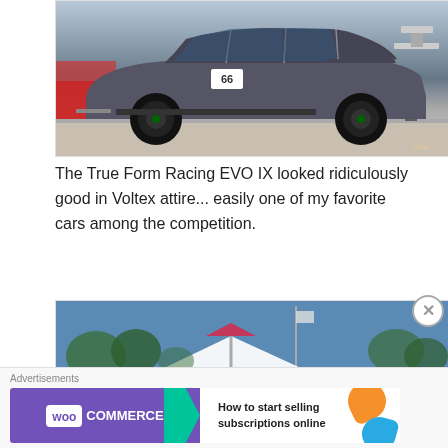[Figure (photo): Side view of a modified Mitsubishi Lancer Evolution IX race car with number 66, Voltex body kit, roll cage visible through windows, large rear wing, on a racetrack. Watermark in bottom right corner.]
The True Form Racing EVO IX looked ridiculously good in Voltex attire... easily one of my favorite cars among the competition.
[Figure (photo): KW suspension branded white pop-up tent/booth at an outdoor motorsport event, with trees and vehicles in background, blue sky above.]
Advertisements
[Figure (other): WooCommerce advertisement banner: purple left side with WooCommerce logo and green arrow, white right side with text 'How to start selling subscriptions online' and orange/blue decorative blobs.]